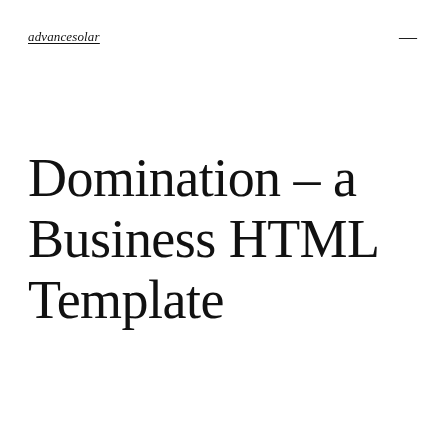advancesolar
Domination – a Business HTML Template